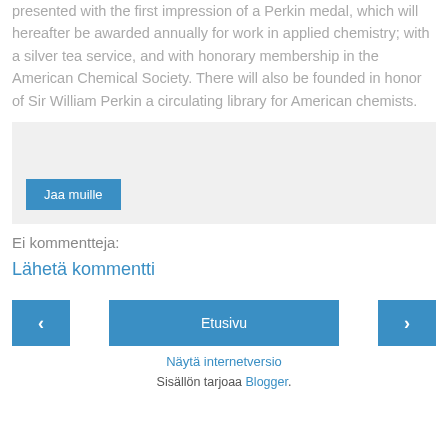presented with the first impression of a Perkin medal, which will hereafter be awarded annually for work in applied chemistry; with a silver tea service, and with honorary membership in the American Chemical Society. There will also be founded in honor of Sir William Perkin a circulating library for American chemists.
[Figure (other): Light gray box with a blue 'Jaa muille' (Share) button at the bottom left]
Ei kommentteja:
Lähetä kommentti
[Figure (other): Navigation row with left arrow button, center 'Etusivu' button, and right arrow button, all in blue]
Näytä internetversio
Sisällön tarjoaa Blogger.